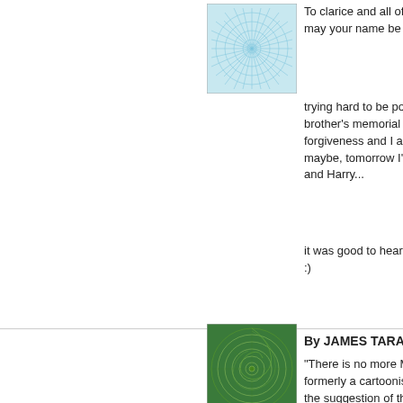[Figure (illustration): Square avatar image with blue geometric/floral pattern on light background]
To clarice and all of the Jewish may your name be written in
trying hard to be positive and brother's memorial service W forgiveness and I am trying to maybe, tomorrow I'll hold bac and Harry...
it was good to hear from soyl :)
[Figure (illustration): Square avatar image with green spiral/swirl pattern]
By JAMES TARANTO
"There is no more Molly," rep formerly a cartoonist for the a the suggestion of the FBI, "sh changing her name, and esse
Why? Because, as the New Y Awlaki, an American-born Isla in Yemen, issued a fatwa in J taken as a prime target of ass